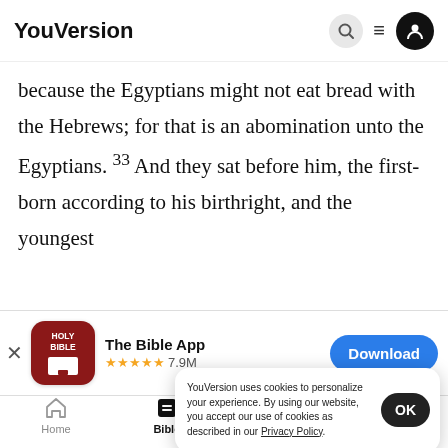YouVersion
because the Egyptians might not eat bread with the Hebrews; for that is an abomination unto the Egyptians. 33 And they sat before him, the first-born according to his birthright, and the youngest
[Figure (screenshot): The Bible App banner with icon, star rating 7.9M, and Download button]
them fr... five tim...
YouVersion uses cookies to personalize your experience. By using our website, you accept our use of cookies as described in our Privacy Policy.
Home  Bible  Plans  Videos